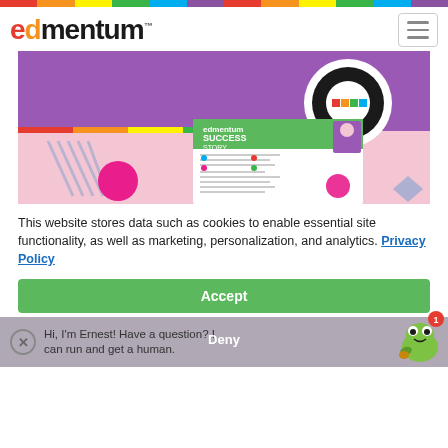[Figure (logo): Edmentum logo with rainbow stripe and hamburger menu icon]
[Figure (illustration): Edmentum promotional hero image showing a pink and purple background with the Edmentum logo circle and a 'Success Story' document preview]
This website stores data such as cookies to enable essential site functionality, as well as marketing, personalization, and analytics. Privacy Policy
Accept
Hi, I'm Ernest! Have a question? I can run and get a human.
Deny